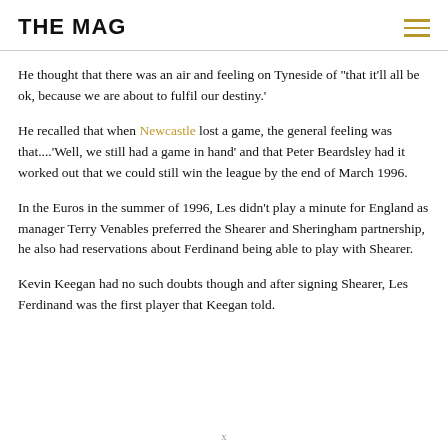THE MAG
He thought that there was an air and feeling on Tyneside of ''that it'll all be ok, because we are about to fulfil our destiny.'
He recalled that when Newcastle lost a game, the general feeling was that....'Well, we still had a game in hand' and that Peter Beardsley had it worked out that we could still win the league by the end of March 1996.
In the Euros in the summer of 1996, Les didn't play a minute for England as manager Terry Venables preferred the Shearer and Sheringham partnership, he also had reservations about Ferdinand being able to play with Shearer.
Kevin Keegan had no such doubts though and after signing Shearer, Les Ferdinand was the first player that Keegan told.